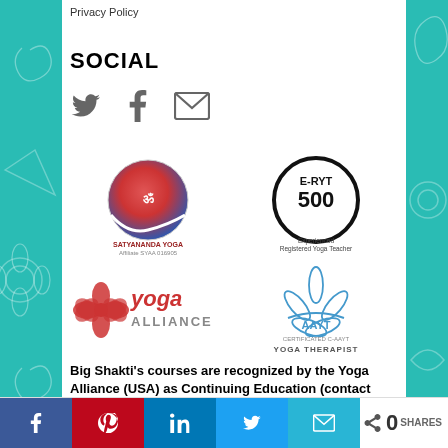Privacy Policy
SOCIAL
[Figure (infographic): Social media icons: Twitter bird, Facebook f, envelope/email]
[Figure (logo): Satyananda Yoga affiliated SYAA 016905 logo - circular red/blue gradient with Sanskrit symbol]
[Figure (logo): E-RYT 500 Experienced Registered Yoga Teacher badge - black circle with bold text]
[Figure (logo): Yoga Alliance red and grey logo]
[Figure (logo): AAYT Certificated C-AAYT Yoga Therapist logo - blue lotus flower]
Big Shakti's courses are recognized by the Yoga Alliance (USA) as Continuing Education (contact
[Figure (infographic): Share bar with Facebook, Pinterest, LinkedIn, Twitter, Email buttons and share count showing 0 SHARES]